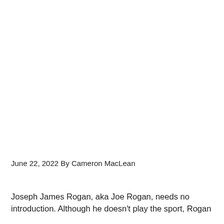June 22, 2022 By Cameron MacLean
Joseph James Rogan, aka Joe Rogan, needs no introduction. Although he doesn't play the sport, Rogan